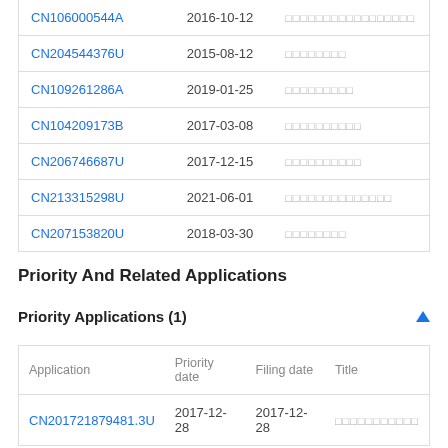|  |  |  |
| --- | --- | --- |
| CN106000544A | 2016-10-12 | □□□□□□□□□□□□□□□□□ |
| CN204544376U | 2015-08-12 | □□□□□□□□ |
| CN109261286A | 2019-01-25 | □□□□□□□□□ |
| CN104209173B | 2017-03-08 | □□□□□□□□□□ |
| CN206746687U | 2017-12-15 | □□□□□□□□□□ |
| CN213315298U | 2021-06-01 | □□□□□□□□□□□□□□ |
| CN207153820U | 2018-03-30 | □□□□□□□□ |
Priority And Related Applications
Priority Applications (1)
| Application | Priority date | Filing date | Title |
| --- | --- | --- | --- |
| CN201721879481.3U | 2017-12-28 | 2017-12-28 | □□□□□□□□□□□ |